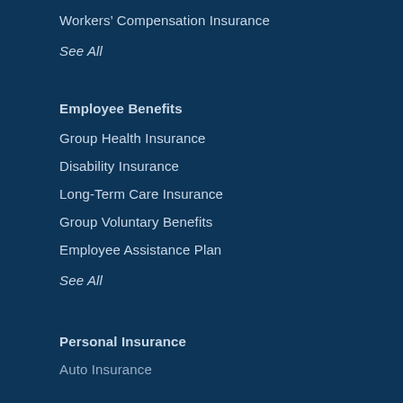Workers' Compensation Insurance
See All
Employee Benefits
Group Health Insurance
Disability Insurance
Long-Term Care Insurance
Group Voluntary Benefits
Employee Assistance Plan
See All
Personal Insurance
Auto Insurance